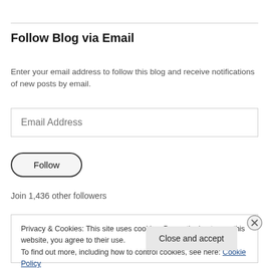Follow Blog via Email
Enter your email address to follow this blog and receive notifications of new posts by email.
Email Address
Follow
Join 1,436 other followers
Privacy & Cookies: This site uses cookies. By continuing to use this website, you agree to their use.
To find out more, including how to control cookies, see here: Cookie Policy
Close and accept